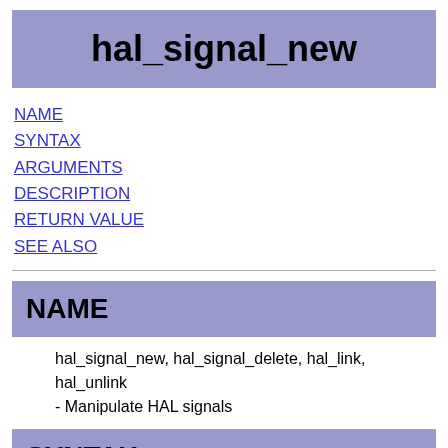hal_signal_new
NAME
SYNTAX
ARGUMENTS
DESCRIPTION
RETURN VALUE
SEE ALSO
NAME
hal_signal_new, hal_signal_delete, hal_link, hal_unlink - Manipulate HAL signals
SYNTAX